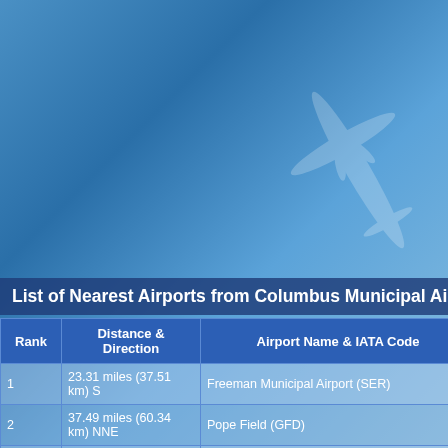List of Nearest Airports from Columbus Municipal Airport
| Rank | Distance & Direction | Airport Name & IATA Code |
| --- | --- | --- |
| 1 | 23.31 miles (37.51 km) S | Freeman Municipal Airport (SER) |
| 2 | 37.49 miles (60.34 km) NNE | Pope Field (GFD) |
| 3 | 37.95 miles (61.07 km) NW | Indianapolis International Airport (IND) |
| 4 | 39.39 miles (63.38 km) WSW | Monroe County Airport (BMG) |
| 5 | 41.44 miles (66.69 km) SW | Virgil I. Grissom Municipal Airport (BFR) |
| 6 | 41.71 miles (67.13 km) SE | Madison Municipal Airport (MDN) |